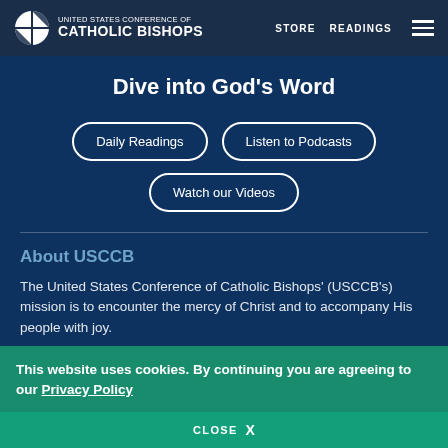UNITED STATES CONFERENCE OF CATHOLIC BISHOPS  STORE  READINGS
Dive into God's Word
Daily Readings
Listen to Podcasts
Watch our Videos
About USCCB
The United States Conference of Catholic Bishops' (USCCB's) mission is to encounter the mercy of Christ and to accompany His people with joy.
This website uses cookies. By continuing you are agreeing to our Privacy Policy
CLOSE  X